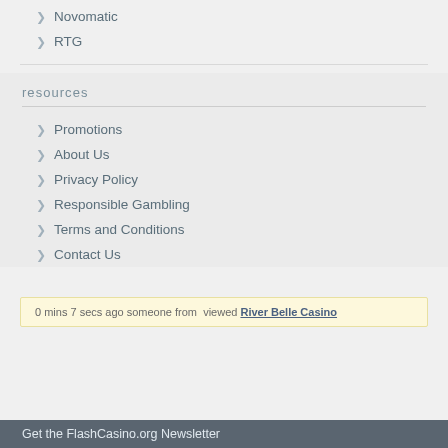Novomatic
RTG
resources
Promotions
About Us
Privacy Policy
Responsible Gambling
Terms and Conditions
Contact Us
0 mins 7 secs ago someone from  viewed River Belle Casino
Get the FlashCasino.org Newsletter